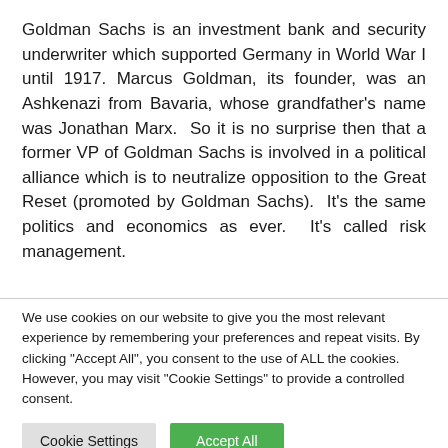Goldman Sachs is an investment bank and security underwriter which supported Germany in World War I until 1917. Marcus Goldman, its founder, was an Ashkenazi from Bavaria, whose grandfather's name was Jonathan Marx. So it is no surprise then that a former VP of Goldman Sachs is involved in a political alliance which is to neutralize opposition to the Great Reset (promoted by Goldman Sachs). It's the same politics and economics as ever. It's called risk management.
We use cookies on our website to give you the most relevant experience by remembering your preferences and repeat visits. By clicking "Accept All", you consent to the use of ALL the cookies. However, you may visit "Cookie Settings" to provide a controlled consent.